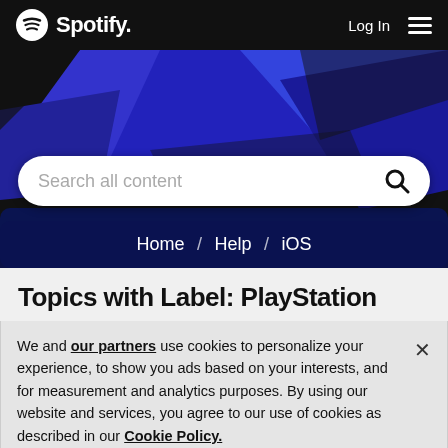[Figure (screenshot): Spotify logo with circular sound wave icon and 'Spotify.' text in white on black background]
Log In
[Figure (other): Hamburger menu icon (three horizontal white lines)]
[Figure (other): Hero banner with blue and black geometric diagonal shapes]
Search all content
Home / Help / iOS
Topics with Label: PlayStation
We and our partners use cookies to personalize your experience, to show you ads based on your interests, and for measurement and analytics purposes. By using our website and services, you agree to our use of cookies as described in our Cookie Policy.